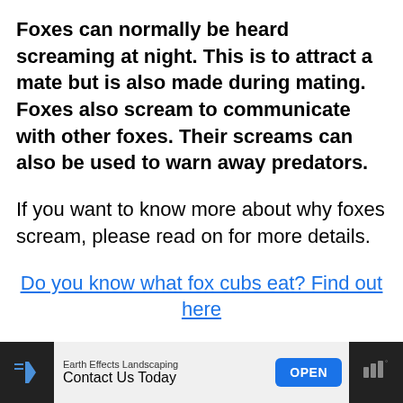Foxes can normally be heard screaming at night. This is to attract a mate but is also made during mating. Foxes also scream to communicate with other foxes. Their screams can also be used to warn away predators.
If you want to know more about why foxes scream, please read on for more details.
Do you know what fox cubs eat? Find out here